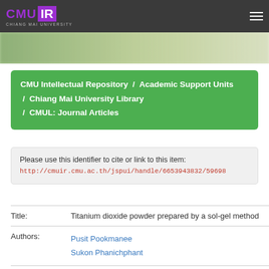CMU IR — Chiang Mai University
[Figure (photo): Blurred banner image with green/natural tones]
CMU Intellectual Repository / Academic Support Units / Chiang Mai University Library / CMUL: Journal Articles
Please use this identifier to cite or link to this item: http://cmuir.cmu.ac.th/jspui/handle/6653943832/59698
| Field | Value |
| --- | --- |
| Title: | Titanium dioxide powder prepared by a sol-gel method |
| Authors: | Pusit Pookmanee
Sukon Phanichphant |
| Keywords: | Materials Science |
| Issue | 10 Jul 2009 |